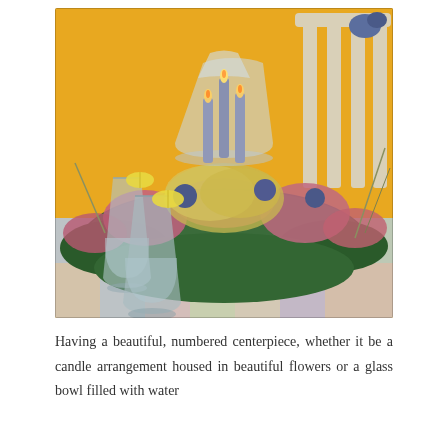[Figure (photo): A floral centerpiece on a checkered tablecloth featuring dried flowers in pink, mauve, and gold hues surrounding three tall blue-grey candles in a glass hurricane vase. Two tall glasses of water with lemon slices are visible on the left side. A yellow wall and white chair back are in the background.]
Having a beautiful, numbered centerpiece, whether it be a candle arrangement housed in beautiful flowers or a glass bowl filled with water